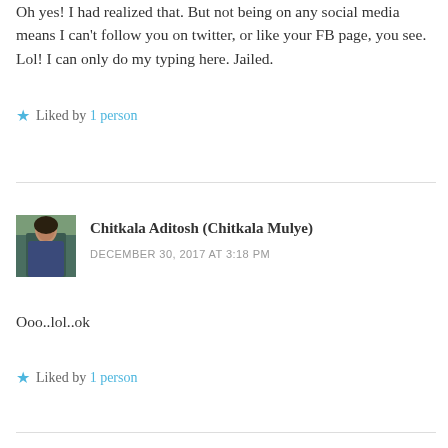Oh yes! I had realized that. But not being on any social media means I can't follow you on twitter, or like your FB page, you see. Lol! I can only do my typing here. Jailed.
Liked by 1 person
Chitkala Aditosh (Chitkala Mulye)
DECEMBER 30, 2017 AT 3:18 PM
Ooo..lol..ok
Liked by 1 person